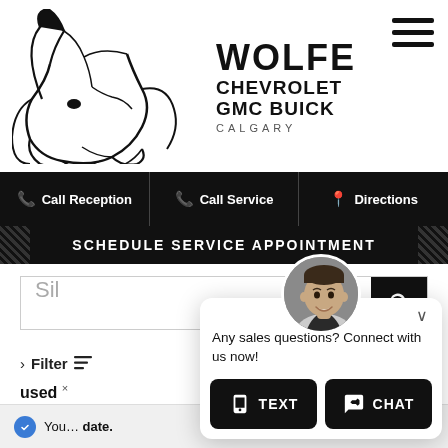[Figure (logo): Wolfe Chevrolet GMC Buick Calgary logo with wolf head silhouette]
Call Reception
Call Service
Directions
SCHEDULE SERVICE APPOINTMENT
Sil
> Filter  Sort By
used ×
[Figure (screenshot): Chat popup with agent photo, text 'Any sales questions? Connect with us now!' and TEXT and CHAT buttons]